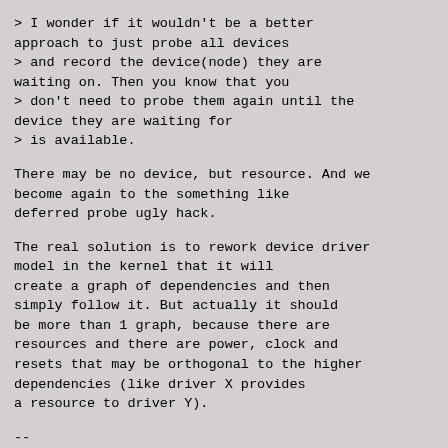> I wonder if it wouldn't be a better approach to just probe all devices
> and record the device(node) they are waiting on. Then you know that you
> don't need to probe them again until the device they are waiting for
> is available.
There may be no device, but resource. And we become again to the something like deferred probe ugly hack.
The real solution is to rework device driver model in the kernel that it will create a graph of dependencies and then simply follow it. But actually it should be more than 1 graph, because there are resources and there are power, clock and resets that may be orthogonal to the higher dependencies (like driver X provides a resource to driver Y).
--
With Best Regards,